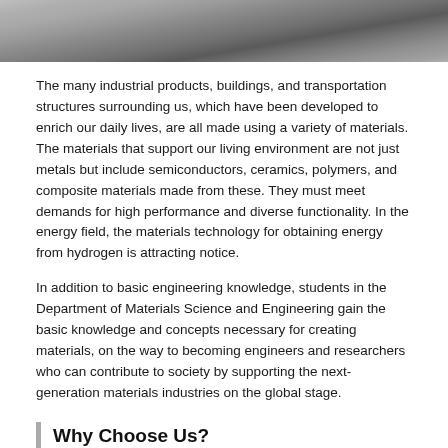[Figure (photo): Top portion of a photograph showing people working at a desk or lab environment, partially cropped at the top of the page.]
The many industrial products, buildings, and transportation structures surrounding us, which have been developed to enrich our daily lives, are all made using a variety of materials. The materials that support our living environment are not just metals but include semiconductors, ceramics, polymers, and composite materials made from these. They must meet demands for high performance and diverse functionality. In the energy field, the materials technology for obtaining energy from hydrogen is attracting notice.
In addition to basic engineering knowledge, students in the Department of Materials Science and Engineering gain the basic knowledge and concepts necessary for creating materials, on the way to becoming engineers and researchers who can contribute to society by supporting the next-generation materials industries on the global stage.
Why Choose Us?
The Department offers four courses, in Metallurgy, Materials Science, Materials Processing, and Eco Materials Science. Along with these are